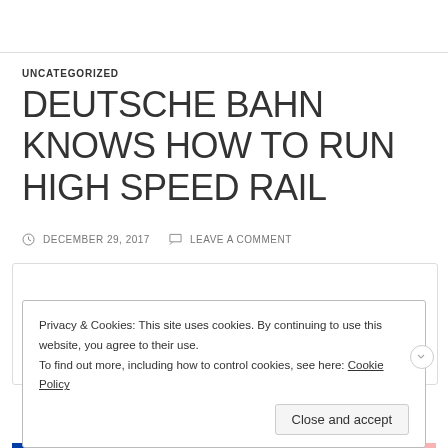UNCATEGORIZED
DEUTSCHE BAHN KNOWS HOW TO RUN HIGH SPEED RAIL
DECEMBER 29, 2017   LEAVE A COMMENT
Privacy & Cookies: This site uses cookies. By continuing to use this website, you agree to their use.
To find out more, including how to control cookies, see here: Cookie Policy
Close and accept